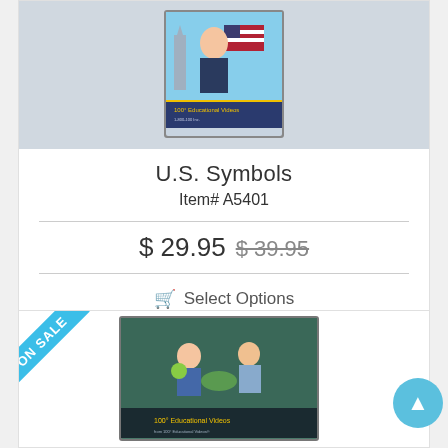[Figure (photo): DVD cover for U.S. Symbols educational video showing a boy with an American flag and the Statue of Liberty in the background]
U.S. Symbols
Item# A5401
$ 29.95  $ 39.95
Select Options
[Figure (photo): Second product card with ON SALE ribbon badge and DVD cover showing children with plants/nature theme]